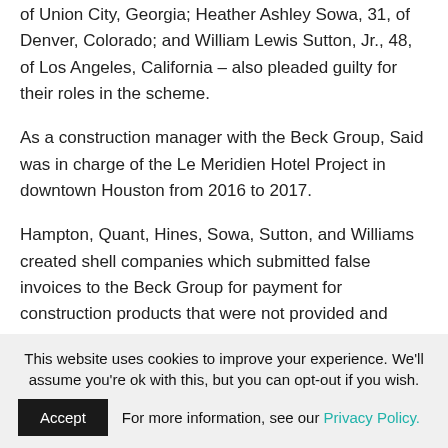of Union City, Georgia; Heather Ashley Sowa, 31, of Denver, Colorado; and William Lewis Sutton, Jr., 48, of Los Angeles, California – also pleaded guilty for their roles in the scheme.
As a construction manager with the Beck Group, Said was in charge of the Le Meridien Hotel Project in downtown Houston from 2016 to 2017.
Hampton, Quant, Hines, Sowa, Sutton, and Williams created shell companies which submitted false invoices to the Beck Group for payment for construction products that were not provided and construction services that were not performed.
As the construction manager for the Beck Group, Said
This website uses cookies to improve your experience. We'll assume you're ok with this, but you can opt-out if you wish. Accept For more information, see our Privacy Policy.